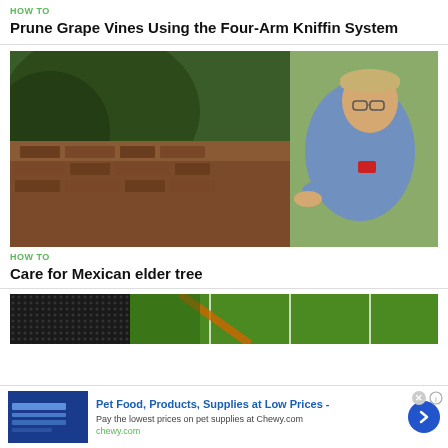HOW TO
Prune Grape Vines Using the Four-Arm Kniffin System
[Figure (photo): Video thumbnail showing a man in a blue shirt and cap speaking outdoors near trees and a stone wall]
HOW TO
Care for Mexican elder tree
[Figure (photo): Video thumbnail showing a green lawn with what appears to be sporting equipment or posts]
Pet Food, Products, Supplies at Low Prices - Pay the lowest prices on pet supplies at Chewy.com chewy.com